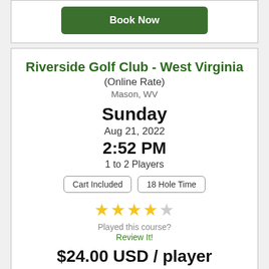[Figure (other): Book Now button in dark green rounded rectangle]
Riverside Golf Club - West Virginia
(Online Rate)
Mason, WV
Sunday
Aug 21, 2022
2:52 PM
1 to 2 Players
Cart Included | 18 Hole Time
[Figure (other): 4 out of 5 star rating displayed as yellow stars]
Played this course?
Review It!
$24.00 USD / player